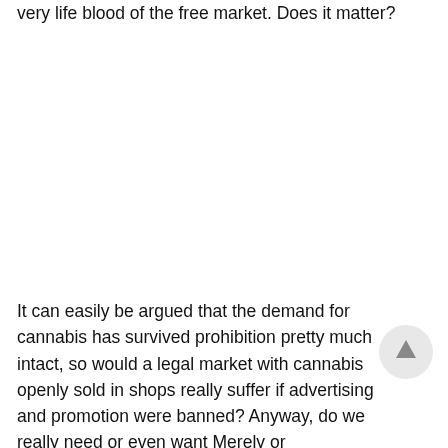very life blood of the free market. Does it matter?
It can easily be argued that the demand for cannabis has survived prohibition pretty much intact, so would a legal market with cannabis openly sold in shops really suffer if advertising and promotion were banned? Anyway, do we really need or even want Merely or